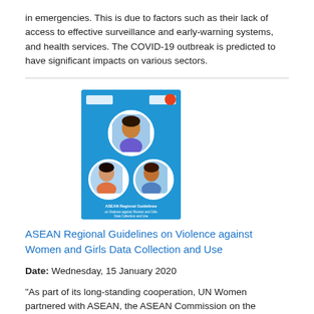in emergencies. This is due to factors such as their lack of access to effective surveillance and early-warning systems, and health services. The COVID-19 outbreak is predicted to have significant impacts on various sectors.
[Figure (illustration): Cover image of the ASEAN Regional Guidelines on Violence against Women and Girls Data Collection and Use publication. Blue background with circular photos of women and the publication title text.]
ASEAN Regional Guidelines on Violence against Women and Girls Data Collection and Use
Date: Wednesday, 15 January 2020
"As part of its long-standing cooperation, UN Women partnered with ASEAN, the ASEAN Commission on the Promotion and Protection of the Rights of Women and Children (ACWC) and the ASEAN Committee on Women (ACW) to develop the ASEAN Regional Guidelines on Violence against Women and Girls Data Collection and Use to strengthen the capacity of ASEAN Member States to systematically collect and use data related to violence against women and girls (VAWG). A timely motivator for these guidelines is